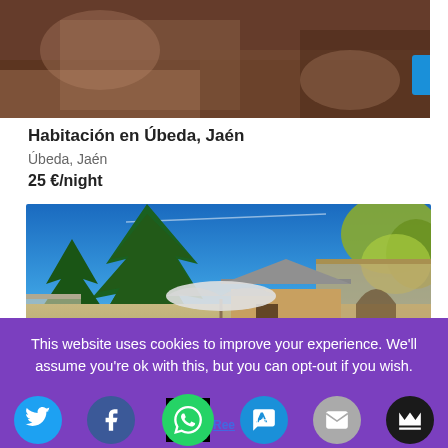[Figure (photo): Partial photo of a room interior, showing furniture and reddish-brown tones, cropped at top of page]
Habitación en Úbeda, Jaén
Úbeda, Jaén
25 €/night
[Figure (photo): Outdoor garden/patio area with large trees, blue sky, a small house or cottage with patio umbrella, green chairs, lush vegetation]
This website uses cookies to improve your experience. We'll assume you're ok with this, but you can opt-out if you wish.
[Figure (infographic): Social sharing icons bar: Twitter, Facebook, WhatsApp, a chat/messaging app, email, and crown icon. Also a 'Re...e' link text overlay.]